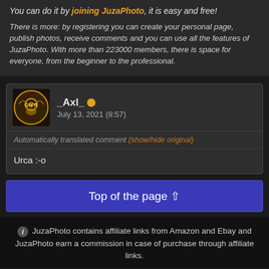You can do it by joining JuzaPhoto, it is easy and free!
There is more: by registering you can create your personal page, publish photos, receive comments and you can use all the features of JuzaPhoto. With more than 223000 members, there is space for everyone, from the beginner to the professional.
_Axl_  July 13, 2021 (8:57)
Automatically translated comment (show/hide original)
Urca :-o
Top of the page ⇧
JuzaPhoto contains affiliate links from Amazon and Ebay and JuzaPhoto earn a commission in case of purchase through affiliate links.